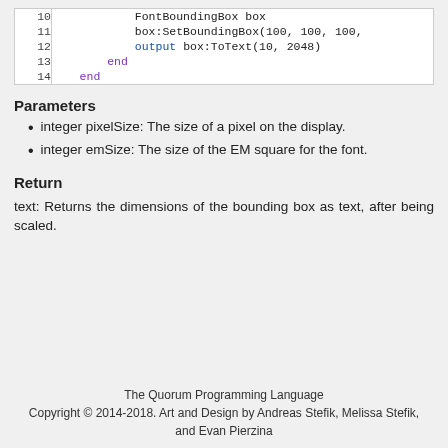[Figure (screenshot): Code block showing lines 10-14 of Quorum language code with FontBoundingBox, SetBoundingBox, output, and end keywords]
Parameters
integer pixelSize: The size of a pixel on the display.
integer emSize: The size of the EM square for the font.
Return
text: Returns the dimensions of the bounding box as text, after being scaled.
The Quorum Programming Language
Copyright © 2014-2018. Art and Design by Andreas Stefik, Melissa Stefik, and Evan Pierzina